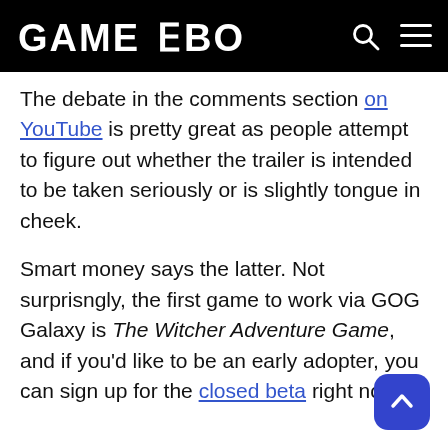GAMEZEBO
The debate in the comments section on YouTube is pretty great as people attempt to figure out whether the trailer is intended to be taken seriously or is slightly tongue in cheek.
Smart money says the latter. Not surprisngly, the first game to work via GOG Galaxy is The Witcher Adventure Game, and if you'd like to be an early adopter, you can sign up for the closed beta right now.